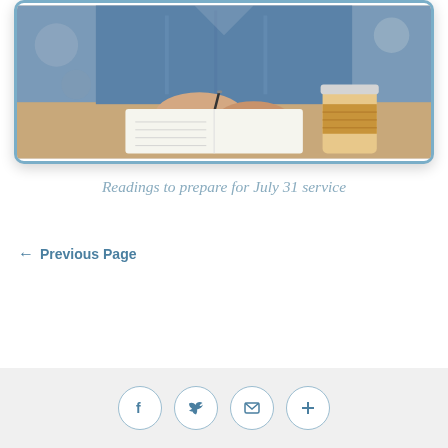[Figure (photo): Person writing in a notebook at a table with a coffee cup, wearing a blue denim shirt]
Readings to prepare for July 31 service
← Previous Page
Social share icons: Facebook, Twitter, Email, More